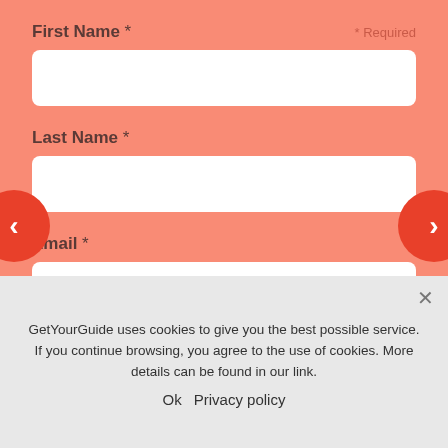First Name *
* Required
Last Name *
Email *
Phone *
GetYourGuide uses cookies to give you the best possible service. If you continue browsing, you agree to the use of cookies. More details can be found in our link.
Ok   Privacy policy